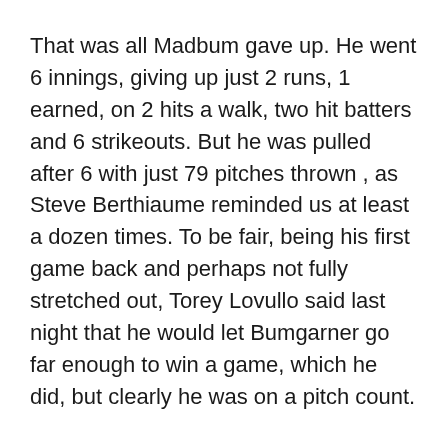That was all Madbum gave up. He went 6 innings, giving up just 2 runs, 1 earned, on 2 hits a walk, two hit batters and 6 strikeouts. But he was pulled after 6 with just 79 pitches thrown , as Steve Berthiaume reminded us at least a dozen times. To be fair, being his first game back and perhaps not fully stretched out, Torey Lovullo said last night that he would let Bumgarner go far enough to win a game, which he did, but clearly he was on a pitch count.
Meanwhile, Kyle Hendricks was just as good. He had to pitch out of trouble a few times, as he uncharacteristically walked three batters to go along with the 6 hits he allowed. But D-backs hitters were not able to do anything with it. They managed one run in the 3rd when Bryan Holaday singled and was bunted